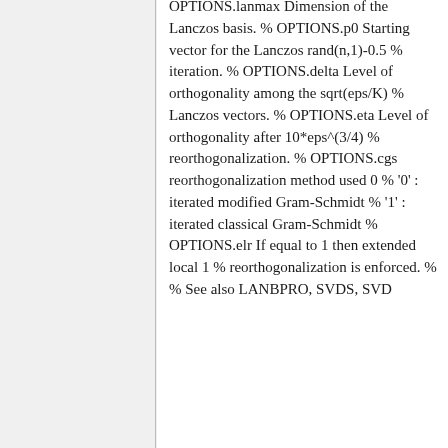OPTIONS.lanmax Dimension of the Lanczos basis. % OPTIONS.p0 Starting vector for the Lanczos rand(n,1)-0.5 % iteration. % OPTIONS.delta Level of orthogonality among the sqrt(eps/K) % Lanczos vectors. % OPTIONS.eta Level of orthogonality after 10*eps^(3/4) % reorthogonalization. % OPTIONS.cgs reorthogonalization method used 0 % '0' : iterated modified Gram-Schmidt % '1' : iterated classical Gram-Schmidt % OPTIONS.elr If equal to 1 then extended local 1 % reorthogonalization is enforced. % % See also LANBPRO, SVDS, SVD